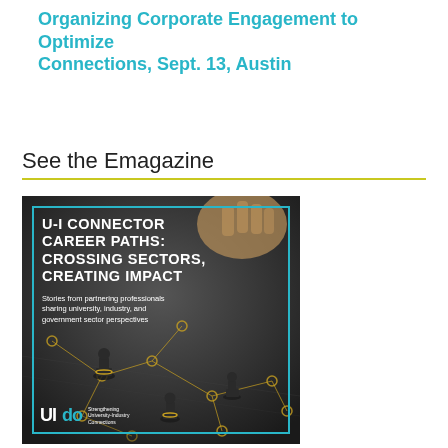Organizing Corporate Engagement to Optimize Connections, Sept. 13, Austin
See the Emagazine
[Figure (illustration): Cover of the U-I Connector Emagazine titled 'U-I CONNECTOR CAREER PATHS: CROSSING SECTORS, CREATING IMPACT — Stories from partnering professionals sharing university, industry, and government sector perspectives'. Features chess pieces on a network map background with the UIDO logo at the bottom left.]